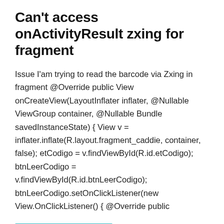Can't access onActivityResult zxing for fragment
Issue I'am trying to read the barcode via Zxing in fragment @Override public View onCreateView(LayoutInflater inflater, @Nullable ViewGroup container, @Nullable Bundle savedInstanceState) { View v = inflater.inflate(R.layout.fragment_caddie, container, false); etCodigo = v.findViewById(R.id.etCodigo); btnLeerCodigo = v.findViewById(R.id.btnLeerCodigo); btnLeerCodigo.setOnClickListener(new View.OnClickListener() { @Override public
Continue reading »